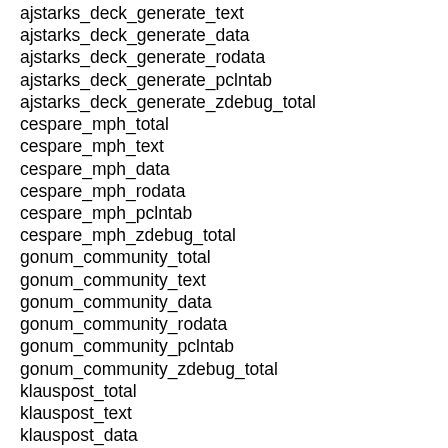ajstarks_deck_generate_text
ajstarks_deck_generate_data
ajstarks_deck_generate_rodata
ajstarks_deck_generate_pclntab
ajstarks_deck_generate_zdebug_total
cespare_mph_total
cespare_mph_text
cespare_mph_data
cespare_mph_rodata
cespare_mph_pclntab
cespare_mph_zdebug_total
gonum_community_total
gonum_community_text
gonum_community_data
gonum_community_rodata
gonum_community_pclntab
gonum_community_zdebug_total
klauspost_total
klauspost_text
klauspost_data
klauspost_rodata
klauspost_pclntab
klauspost_zdebug_total